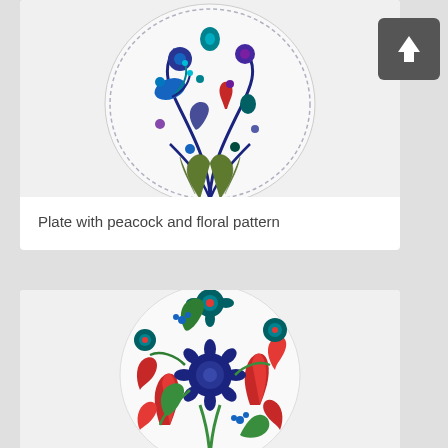[Figure (photo): Top half of a decorative ceramic plate with peacock and floral pattern in blue, teal, and green on white background]
Plate with peacock and floral pattern
[Figure (photo): A decorative ceramic plate with dense floral pattern in blue, red, green, and teal on white background]
[Figure (other): Dark gray square button with white upward arrow icon]